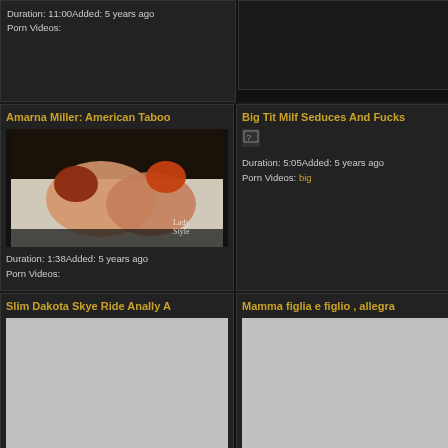Duration: 11:00Added: 5 years ago
Porn Videos:
Amarna Miller: American Taboo
[Figure (photo): Two women in intimate scene on white bedding, red-haired individuals]
Duration: 1:38Added: 5 years ago
Porn Videos:
Big Tit Milf Seduces And Fucks
[Figure (photo): Small broken/loading image thumbnail]
Duration: 5:05Added: 5 years ago
Porn Videos: big
Slim Dakota Skye Ride Anally A
[Figure (photo): Gray placeholder thumbnail]
Mamma figlia e figlio , allegra
[Figure (photo): Gray placeholder thumbnail]